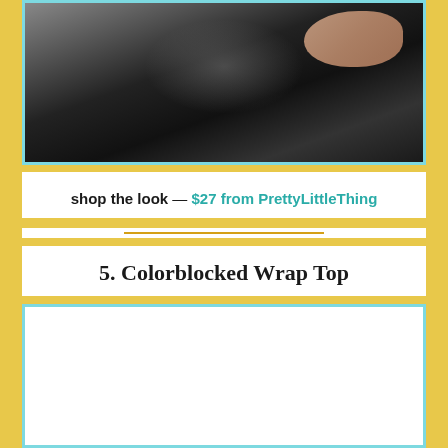[Figure (photo): Close-up photo of a person wearing black leather/faux-leather pants, showing the lower torso and hips area with one hand visible at the right side]
shop the look — $27 from PrettyLittleThing
5. Colorblocked Wrap Top
[Figure (photo): Product photo area (partially visible at bottom of page) — colorblocked wrap top image]